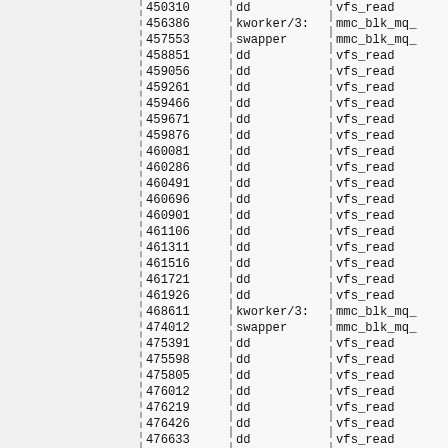| timestamp | process | function |
| --- | --- | --- |
| 450310 | dd | vfs_read |
| 456386 | kworker/3: | mmc_blk_mq_ |
| 457553 | swapper | mmc_blk_mq_ |
| 458851 | dd | vfs_read |
| 459056 | dd | vfs_read |
| 459261 | dd | vfs_read |
| 459466 | dd | vfs_read |
| 459671 | dd | vfs_read |
| 459876 | dd | vfs_read |
| 460081 | dd | vfs_read |
| 460286 | dd | vfs_read |
| 460491 | dd | vfs_read |
| 460696 | dd | vfs_read |
| 460901 | dd | vfs_read |
| 461106 | dd | vfs_read |
| 461311 | dd | vfs_read |
| 461516 | dd | vfs_read |
| 461721 | dd | vfs_read |
| 461926 | dd | vfs_read |
| 468611 | kworker/3: | mmc_blk_mq_ |
| 474012 | swapper | mmc_blk_mq_ |
| 475391 | dd | vfs_read |
| 475598 | dd | vfs_read |
| 475805 | dd | vfs_read |
| 476012 | dd | vfs_read |
| 476219 | dd | vfs_read |
| 476426 | dd | vfs_read |
| 476633 | dd | vfs_read |
| 476840 | dd | vfs_read |
| 477047 | dd | vfs_read |
| 477254 | dd | vfs_read |
| 477461 | dd | vfs_read |